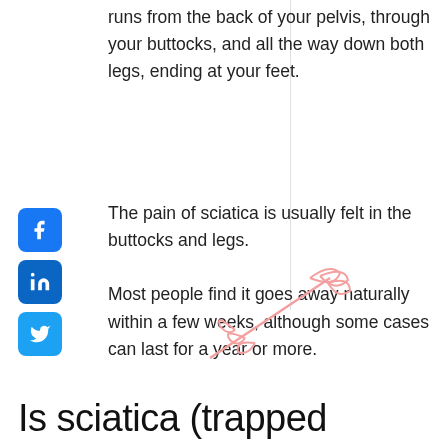runs from the back of your pelvis, through your buttocks, and all the way down both legs, ending at your feet.
The pain of sciatica is usually felt in the buttocks and legs.
Most people find it goes away naturally within a few weeks, although some cases can last for a year or more.
[Figure (illustration): Decorative pink hand-drawn plant or leaf illustration]
Is sciatica (trapped